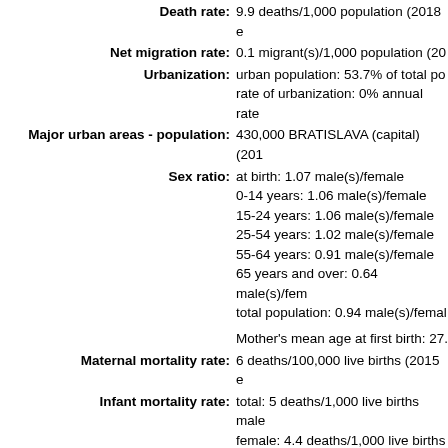Death rate: 9.9 deaths/1,000 population (2018 e...
Net migration rate: 0.1 migrant(s)/1,000 population (20...
Urbanization: urban population: 53.7% of total po... rate of urbanization: 0% annual rate...
Major urban areas - population: 430,000 BRATISLAVA (capital) (201...
Sex ratio: at birth: 1.07 male(s)/female 0-14 years: 1.06 male(s)/female 15-24 years: 1.06 male(s)/female 25-54 years: 1.02 male(s)/female 55-64 years: 0.91 male(s)/female 65 years and over: 0.64 male(s)/fem... total population: 0.94 male(s)/femal...
Mother's mean age at first birth: 27....
Maternal mortality rate: 6 deaths/100,000 live births (2015 e...
Infant mortality rate: total: 5 deaths/1,000 live births male... female: 4.4 deaths/1,000 live births
Life expectancy at birth: total population: 77.4 years male: 7... female: 81.2 years (2018 est.)
Total fertility rate: 1.42 children born/woman (2018 es...
Physicians density: 2.46 physicians/1,000 population (2...
Hospital bed density: 5.8 beds/1,000 population (2015)
Drinking water source: improved: urban: 100% of population rural: 100% of population total: 100% of population
unimproved: